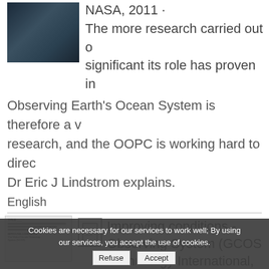[Figure (screenshot): Thumbnail image of a dark-themed document or publication cover]
NASA, 2011 · The more research carried out on significant its role has proven in Observing Earth's Ocean System is therefore a v research, and the OOPC is working hard to direc Dr Eric J Lindstrom explains.
English
[Figure (screenshot): Thumbnail of a document page with text lines]
[Figure (screenshot): Document icon]
Improving conditions - Observing System (GCOS Technology International, Thigpen Richard K. - UKIP Media
Cookies are necessary for our services to work well; By using our services, you accept the use of cookies.